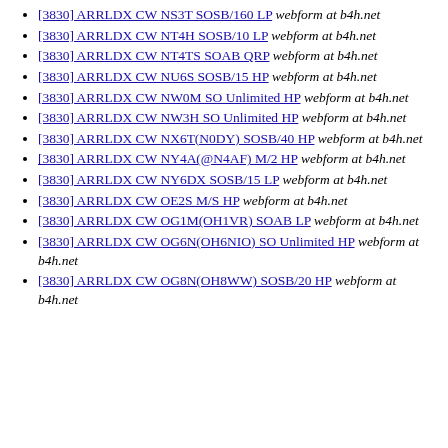[3830] ARRLDX CW NS3T SOSB/160 LP  webform at b4h.net
[3830] ARRLDX CW NT4H SOSB/10 LP  webform at b4h.net
[3830] ARRLDX CW NT4TS SOAB QRP  webform at b4h.net
[3830] ARRLDX CW NU6S SOSB/15 HP  webform at b4h.net
[3830] ARRLDX CW NW0M SO Unlimited HP  webform at b4h.net
[3830] ARRLDX CW NW3H SO Unlimited HP  webform at b4h.net
[3830] ARRLDX CW NX6T(N0DY) SOSB/40 HP  webform at b4h.net
[3830] ARRLDX CW NY4A(@N4AF) M/2 HP  webform at b4h.net
[3830] ARRLDX CW NY6DX SOSB/15 LP  webform at b4h.net
[3830] ARRLDX CW OE2S M/S HP  webform at b4h.net
[3830] ARRLDX CW OG1M(OH1VR) SOAB LP  webform at b4h.net
[3830] ARRLDX CW OG6N(OH6NIO) SO Unlimited HP  webform at b4h.net
[3830] ARRLDX CW OG8N(OH8WW) SOSB/20 HP  webform at b4h.net